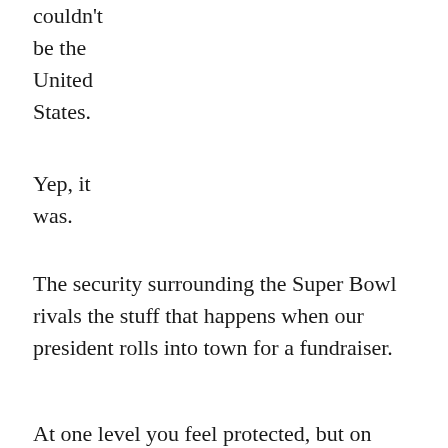couldn't be the United States.
Yep, it was.
The security surrounding the Super Bowl rivals the stuff that happens when our president rolls into town for a fundraiser.
At one level you feel protected, but on another, it's pretty darn scary.
I grew up in countries where heavily armed police, army tanks, and soldiers marched in and took